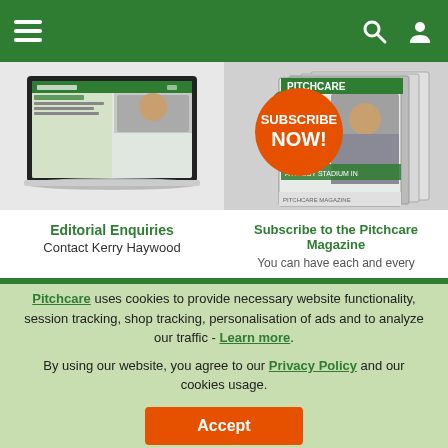Pitchcare website navigation header with hamburger menu, search and user icons
[Figure (screenshot): Laptop showing Pitchcare website/magazine digital edition]
[Figure (photo): Stack of Pitchcare magazine issues with orange Subscribe Now! badge]
Editorial Enquiries
Contact Kerry Haywood
Subscribe to the Pitchcare Magazine
You can have each and every
Pitchcare uses cookies to provide necessary website functionality, session tracking, shop tracking, personalisation of ads and to analyze our traffic - Learn more. By using our website, you agree to our Privacy Policy and our cookies usage.
Accept